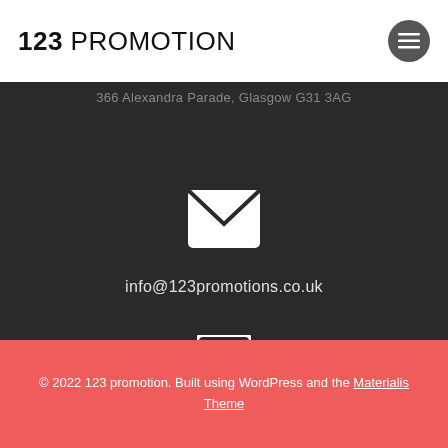123 PROMOTION
366 Alexandra Parade, Glasgow G31 3AG
[Figure (illustration): White envelope/email icon on dark background]
info@123promotions.co.uk
[Figure (illustration): White mobile phone icon on dark background]
01141 9496 0184
© 2022 123 promotion. Built using WordPress and the Materialis Theme